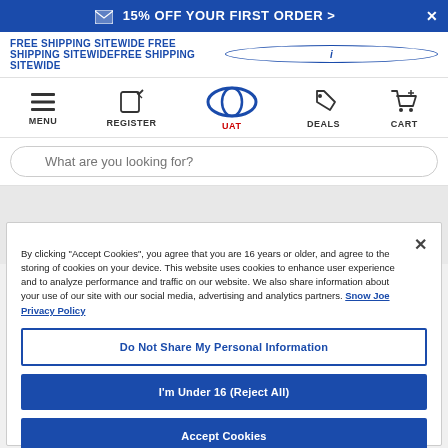✉ 15% OFF YOUR FIRST ORDER > ×
FREE SHIPPING SITEWIDE FREE SHIPPING SITEWIDEFREE SHIPPING SITEWIDE ⓘ
[Figure (screenshot): Navigation bar with icons: MENU (hamburger), REGISTER (edit icon), UAT (logo oval), DEALS (tag icon), CART (cart icon)]
What are you looking for?
By clicking "Accept Cookies", you agree that you are 16 years or older, and agree to the storing of cookies on your device. This website uses cookies to enhance user experience and to analyze performance and traffic on our website. We also share information about your use of our site with our social media, advertising and analytics partners. Snow Joe Privacy Policy
Do Not Share My Personal Information
I'm Under 16 (Reject All)
Accept Cookies